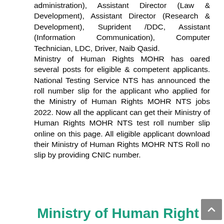administration), Assistant Director (Law & Development), Assistant Director (Research & Development), Suprident /DDC, Assistant (Information Communication), Computer Technician, LDC, Driver, Naib Qasid. Ministry of Human Rights MOHR has oared several posts for eligible & competent applicants. National Testing Service NTS has announced the roll number slip for the applicant who applied for the Ministry of Human Rights MOHR NTS jobs 2022. Now all the applicant can get their Ministry of Human Rights MOHR NTS test roll number slip online on this page. All eligible applicant download their Ministry of Human Rights MOHR NTS Roll no slip by providing CNIC number.
Ministry of Human Right